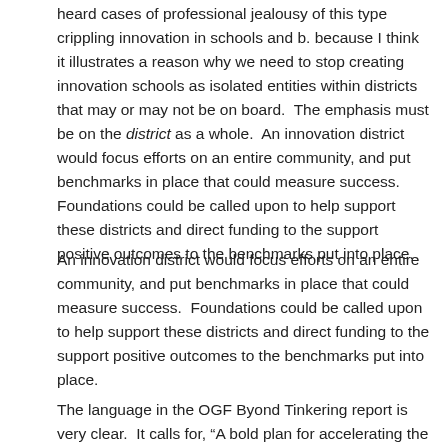heard cases of professional jealousy of this type crippling innovation in schools and b. because I think it illustrates a reason why we need to stop creating innovation schools as isolated entities within districts that may or may not be on board.  The emphasis must be on the district as a whole.  An innovation district would focus efforts on an entire community, and put benchmarks in place that could measure success.  Foundations could be called upon to help support these districts and direct funding to the support positive outcomes to the benchmarks put into place.
An innovation district would focus efforts on an entire community, and put benchmarks in place that could measure success.  Foundations could be called upon to help support these districts and direct funding to the support positive outcomes to the benchmarks put into place.
The language in the OGF Byond Tinkering report is very clear.  It calls for, “A bold plan for accelerating the pace of innovation… for